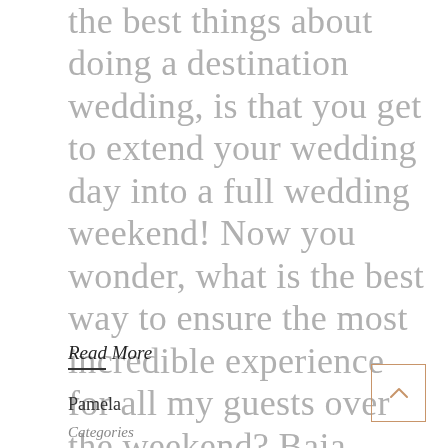the best things about doing a destination wedding, is that you get to extend your wedding day into a full wedding weekend! Now you wonder, what is the best way to ensure the most incredible experience for all my guests over the weekend? Baja Love Weddings & Events has it all figured out for you! Starting ...
Read More
Pamela
Categories